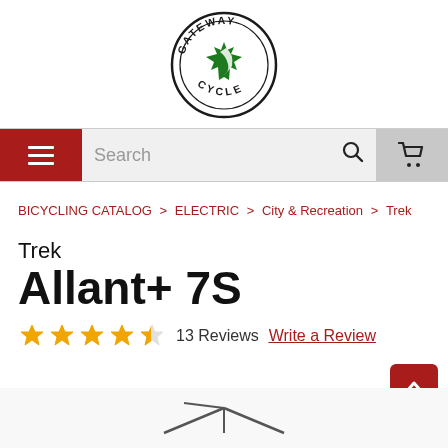[Figure (logo): Gateway Cycle logo: circular badge with text 'GATEWAY' on top arc and 'CYCLE' on bottom arc, with a green maple leaf and crescent moon symbol in the center]
Search
BICYCLING CATALOG > ELECTRIC > City & Recreation > Trek
Trek Allant+ 7S
13 Reviews   Write a Review